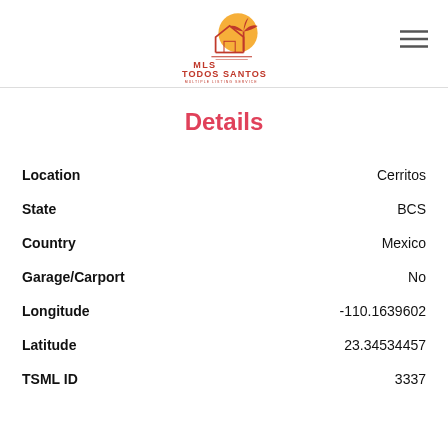[Figure (logo): MLS Todos Santos Multiple Listing Service logo with house and palm tree silhouette in orange and red]
Details
| Field | Value |
| --- | --- |
| Location | Cerritos |
| State | BCS |
| Country | Mexico |
| Garage/Carport | No |
| Longitude | -110.1639602 |
| Latitude | 23.34534457 |
| TSML ID | 3337 |